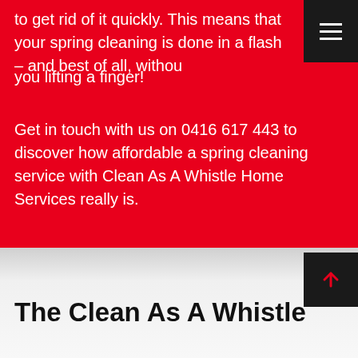to get rid of it quickly. This means that your spring cleaning is done in a flash – and best of all, without you lifting a finger!
Get in touch with us on 0416 617 443 to discover how affordable a spring cleaning service with Clean As A Whistle Home Services really is.
CALL US NOW!
The Clean As A Whistle